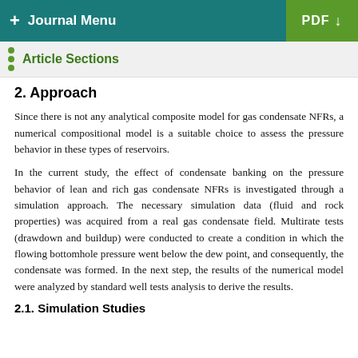+ Journal Menu   PDF ↓
Article Sections
2. Approach
Since there is not any analytical composite model for gas condensate NFRs, a numerical compositional model is a suitable choice to assess the pressure behavior in these types of reservoirs.
In the current study, the effect of condensate banking on the pressure behavior of lean and rich gas condensate NFRs is investigated through a simulation approach. The necessary simulation data (fluid and rock properties) was acquired from a real gas condensate field. Multirate tests (drawdown and buildup) were conducted to create a condition in which the flowing bottomhole pressure went below the dew point, and consequently, the condensate was formed. In the next step, the results of the numerical model were analyzed by standard well tests analysis to derive the results.
2.1. Simulation Studies